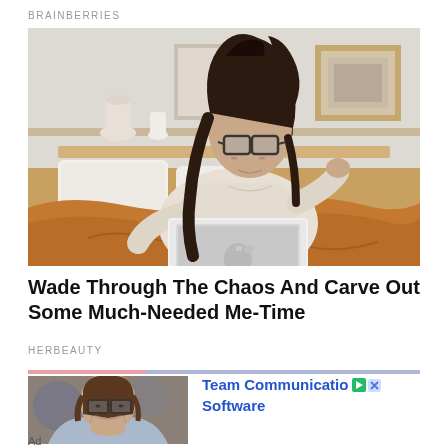BRAINBERRIES
[Figure (photo): Young woman with glasses and dark hair in a high bun, sitting in bed with golden/mustard orange bedding, working on a silver MacBook laptop. She is wearing a cream/beige knit sweater. Behind her is a white headboard with decorative objects on a shelf including small vases and a plant. Framed artwork is visible on the wall in the background.]
Wade Through The Chaos And Carve Out Some Much-Needed Me-Time
HERBEAUTY
[Figure (photo): Advertisement image showing a smiling woman with glasses and brown hair, wearing a blue/white shirt, photographed in an interior setting.]
Team Communication Software
Ad